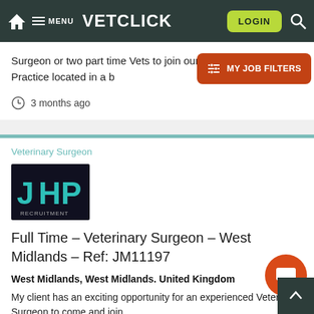VETCLICK — LOGIN — MENU
Surgeon or two part time Vets to join our clients small animal Practice located in a b
3 months ago
Veterinary Surgeon
[Figure (logo): JHP Recruitment logo — black background with teal/cyan letters J, H, P and word RECRUITMENT below]
Full Time – Veterinary Surgeon – West Midlands – Ref: JM11197
West Midlands, West Midlands. United Kingdom
My client has an exciting opportunity for an experienced Veterinary Surgeon to come and join a group of friendly teams in the West Midlands...